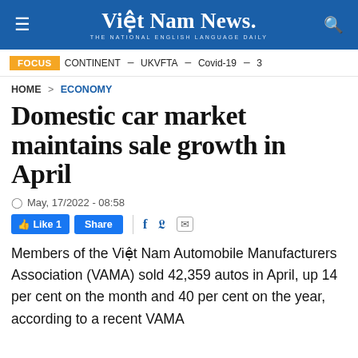Việt Nam News. THE NATIONAL ENGLISH LANGUAGE DAILY
FOCUS  CONTINENT – UKVFTA – Covid-19 – 3
HOME > ECONOMY
Domestic car market maintains sale growth in April
May, 17/2022 - 08:58
Like 1  Share  f  Twitter  Mail
Members of the Việt Nam Automobile Manufacturers Association (VAMA) sold 42,359 autos in April, up 14 per cent on the month and 40 per cent on the year, according to a recent VAMA